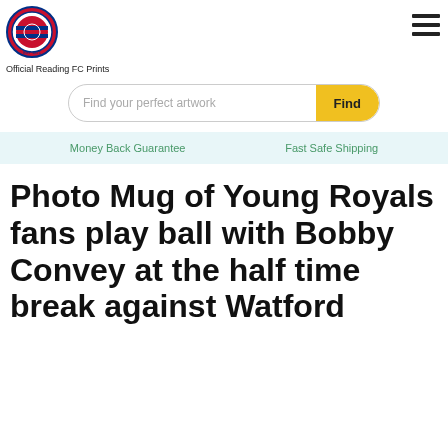[Figure (logo): Reading FC circular crest logo in red and blue]
Official Reading FC Prints
[Figure (other): Hamburger menu icon (three horizontal lines)]
[Figure (other): Search bar with placeholder 'Find your perfect artwork' and yellow 'Find' button]
Money Back Guarantee
Fast Safe Shipping
Photo Mug of Young Royals fans play ball with Bobby Convey at the half time break against Watford